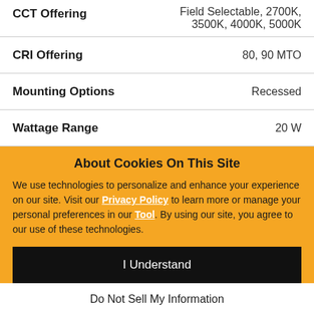| Property | Value |
| --- | --- |
| CCT Offering | Field Selectable, 2700K, 3500K, 4000K, 5000K |
| CRI Offering | 80, 90 MTO |
| Mounting Options | Recessed |
| Wattage Range | 20 W |
About Cookies On This Site
We use technologies to personalize and enhance your experience on our site. Visit our Privacy Policy to learn more or manage your personal preferences in our Tool. By using our site, you agree to our use of these technologies.
I Understand
Do Not Sell My Information